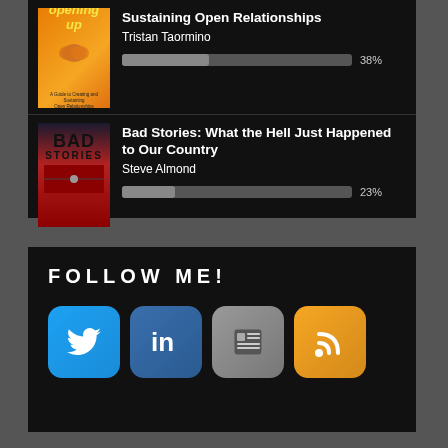[Figure (screenshot): Book listing: Opening Up by Tristan Taormino with 38% progress bar]
[Figure (screenshot): Book listing: Bad Stories: What the Hell Just Happened to Our Country by Steve Almond with 23% progress bar]
FOLLOW ME!
[Figure (infographic): Four social media icons: Twitter, LinkedIn, NewsBlur, RSS feed]